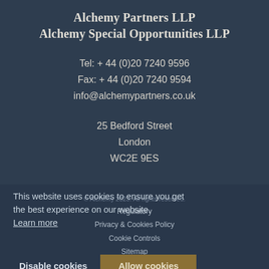Alchemy Partners LLP
Alchemy Special Opportunities LLP
Tel: + 44 (0)20 7240 9596
Fax: + 44 (0)20 7240 9594
info@alchemypartners.co.uk
25 Bedford Street
London
WC2E 9ES
© Alchemy 2023. All rights reserved.
Regulatory
Privacy & Cookies Policy
Cookie Controls
Sitemap
Data Protection
Design by WildWest
This website uses cookies to ensure you get the best experience on our website.
Learn more
Disable cookies
Allow cookies